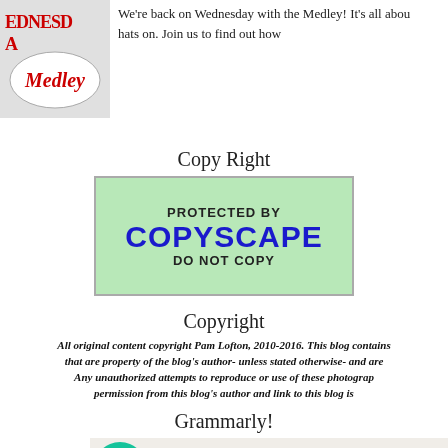[Figure (photo): Wednesday Medley blog logo image with text 'EDNESDAY Medley' on a black and white background]
We're back on Wednesday with the Medley! It's all abou hats on. Join us to find out how
Copy Right
[Figure (other): Copyscape badge: green background with text 'PROTECTED BY COPYSCAPE DO NOT COPY']
Copyright
All original content copyright Pam Lofton, 2010-2016. This blog contains that are property of the blog's author- unless stated otherwise- and are Any unauthorized attempts to reproduce or use of these photograp permission from this blog's author and link to this blog is
Grammarly!
[Figure (screenshot): Grammarly banner with green logo and text 'Write Better Gooder With GRAMMARLY']